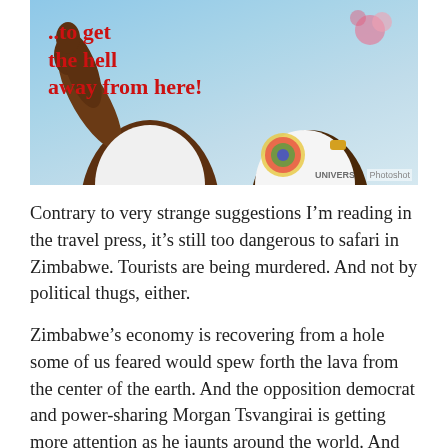[Figure (photo): Photo of a person raising their arm, with overlaid red bold text reading '..to get the hell away from here!' and a Photoshot credit in the bottom right corner. Light blue sky background.]
Contrary to very strange suggestions I'm reading in the travel press, it's still too dangerous to safari in Zimbabwe. Tourists are being murdered. And not by political thugs, either.
Zimbabwe's economy is recovering from a hole some of us feared would spew forth the lava from the center of the earth. And the opposition democrat and power-sharing Morgan Tsvangirai is getting more attention as he jaunts around the world. And for these two reasons Zimbabwe watchers say things are getting better, in particular,